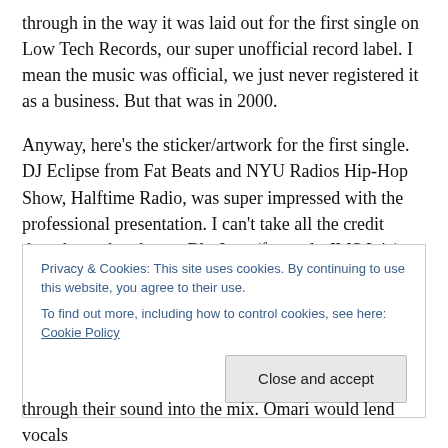through in the way it was laid out for the first single on Low Tech Records, our super unofficial record label. I mean the music was official, we just never registered it as a business. But that was in 2000.
Anyway, here's the sticker/artwork for the first single. DJ Eclipse from Fat Beats and NYU Radios Hip-Hop Show, Halftime Radio, was super impressed with the professional presentation. I can't take all the credit though, my band mate Blu Jemz(formerly JMS Inja) offered his input about the color scheme. Man those were the good old days. The
Privacy & Cookies: This site uses cookies. By continuing to use this website, you agree to their use.
To find out more, including how to control cookies, see here: Cookie Policy
through their sound into the mix. Omari would lend vocals